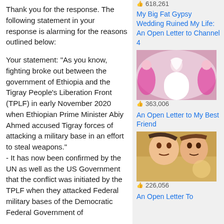Thank you for the response. The following statement in your response is alarming for the reasons outlined below:

Your statement: "As you know, fighting broke out between the government of Ethiopia and the Tigray People's Liberation Front (TPLF) in early November 2020 when Ethiopian Prime Minister Abiy Ahmed accused Tigray forces of attacking a military base in an effort to steal weapons."
- It has now been confirmed by the UN as well as the US Government that the conflict was initiated by the TPLF when they attacked Federal military bases of the Democratic Federal Government of
618,261
My Big Fat Gypsy Wedding Ruined My Life: An Open Letter to Channel 4
[Figure (photo): Photo of a bride in a white wedding dress with bridesmaids in pink dresses]
363,006
An Open Letter to My Best Friend
[Figure (photo): Selfie photo of two people lying on the ground with faces upside down, smiling]
226,056
An Open Letter To